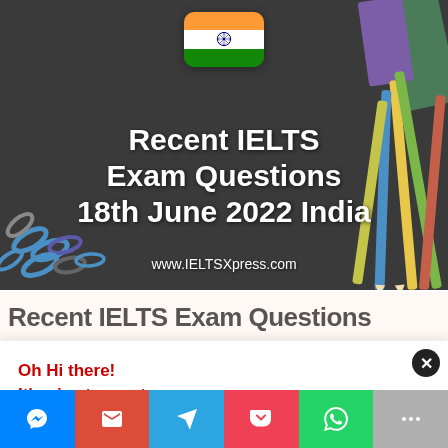[Figure (photo): Banner image with dark chalkboard background showing pencils on the right, blue paper clips on the left, green and purple notebooks top right. Indian flag icon centered at top. Bold white text reads 'Recent IELTS Exam Questions 18th June 2022 India' with website URL www.IELTSXpress.com below.]
Recent IELTS Exam Questions 18th June 2022 India
Oh Hi there!
It's nice to meet you.

Sign up to receive awesome content in your inbox, every week.
[Figure (infographic): Social sharing bar with buttons: Messenger (blue), Gmail (red), Telegram (light blue), Pocket (pink-red), WhatsApp (green), More (grey)]